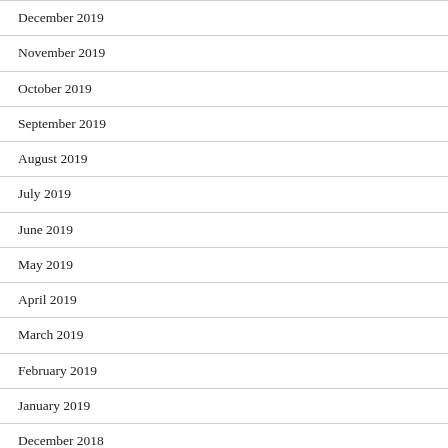December 2019
November 2019
October 2019
September 2019
August 2019
July 2019
June 2019
May 2019
April 2019
March 2019
February 2019
January 2019
December 2018
November 2018
October 2018